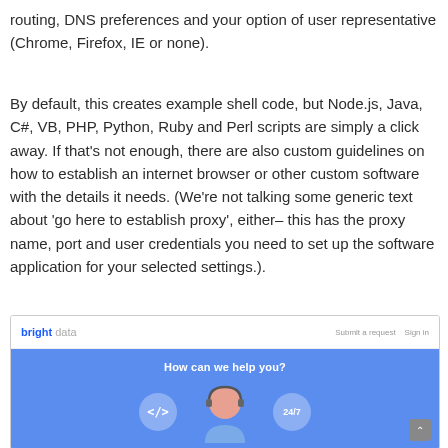routing, DNS preferences and your option of user representative (Chrome, Firefox, IE or none).
By default, this creates example shell code, but Node.js, Java, C#, VB, PHP, Python, Ruby and Perl scripts are simply a click away. If that's not enough, there are also custom guidelines on how to establish an internet browser or other custom software with the details it needs. (We're not talking some generic text about 'go here to establish proxy', either– this has the proxy name, port and user credentials you need to set up the software application for your selected settings.).
[Figure (screenshot): Screenshot of the Bright Data support page showing the header with 'bright data' logo, 'Submit a request' and 'Sign in' links, and a blue hero section with 'How can we help you?' text, a customer service agent illustration with headphones, a code icon circle on the left, a 24/7 icon circle on the right, and a scroll-up button in the bottom-right corner.]